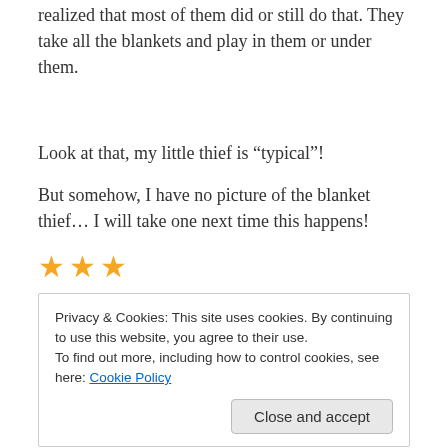realized that most of them did or still do that. They take all the blankets and play in them or under them.
Look at that, my little thief is “typical”!
But somehow, I have no picture of the blanket thief… I will take one next time this happens!
[Figure (other): Three gold star symbols used as a decorative separator]
Privacy & Cookies: This site uses cookies. By continuing to use this website, you agree to their use.
To find out more, including how to control cookies, see here: Cookie Policy
And if you have a spare second, please get to my blog